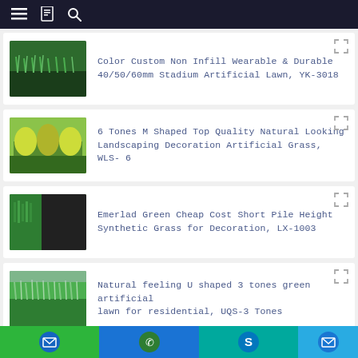Navigation bar with menu, bookmark, and search icons
Color Custom Non Infill Wearable & Durable 40/50/60mm Stadium Artificial Lawn, YK-3018
6 Tones M Shaped Top Quality Natural Looking Landscaping Decoration Artificial Grass, WLS- 6
Emerlad Green Cheap Cost Short Pile Height Synthetic Grass for Decoration, LX-1003
Natural feeling U shaped 3 tones green artificial lawn for residential, UQS-3 Tones
Contact buttons: email, WhatsApp, Skype, email